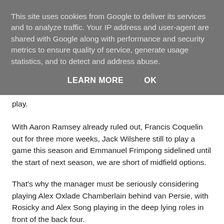This site uses cookies from Google to deliver its services and to analyze traffic. Your IP address and user-agent are shared with Google along with performance and security metrics to ensure quality of service, generate usage statistics, and to detect and address abuse.
LEARN MORE   OK
play.
With Aaron Ramsey already ruled out, Francis Coquelin out for three more weeks, Jack Wilshere still to play a game this season and Emmanuel Frimpong sidelined until the start of next season, we are short of midfield options.
That's why the manager must be seriously considering playing Alex Oxlade Chamberlain behind van Persie, with Rosicky and Alex Song playing in the deep lying roles in front of the back four.
It would be a drastic option, playing the Ox in that position but it appears the manager really is running out of options.